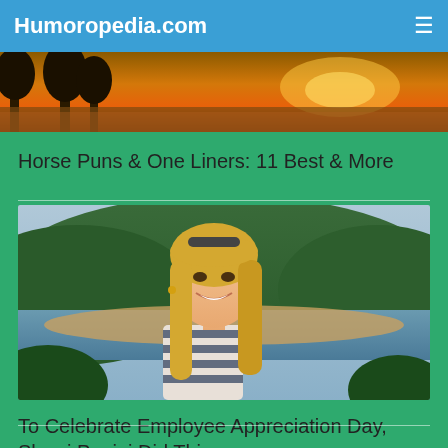Humoropedia.com
[Figure (photo): Sunset landscape photo with orange sky and silhouetted trees]
Horse Puns & One Liners: 11 Best & More
[Figure (photo): Blonde woman smiling in front of a lake and green hills]
To Celebrate Employee Appreciation Day, Sherri Papini Did This